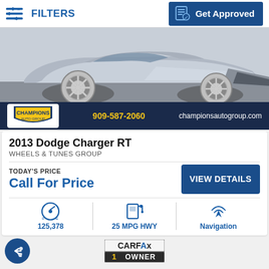FILTERS | Get Approved
[Figure (photo): Silver 2013 Dodge Charger RT photographed from the front-left angle, showing chrome wheels. Champions Auto Group banner at bottom with phone 909-587-2060 and championsautogroup.com]
2013 Dodge Charger RT
WHEELS & TUNES GROUP
TODAY'S PRICE
Call For Price
VIEW DETAILS
[Figure (infographic): Odometer icon showing 125,378 miles]
[Figure (infographic): Fuel pump icon showing 25 MPG HWY]
[Figure (infographic): Navigation icon showing Navigation feature]
[Figure (logo): CARFAX 1 OWNER badge logo]